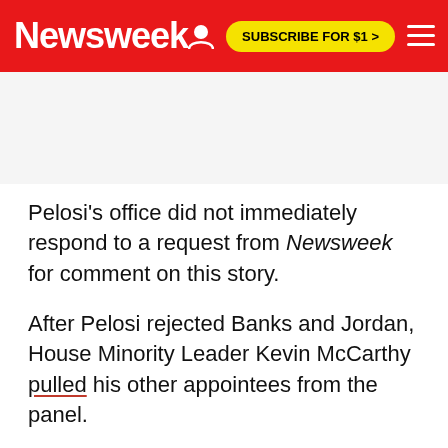Newsweek | SUBSCRIBE FOR $1 >
Pelosi's office did not immediately respond to a request from Newsweek for comment on this story.
After Pelosi rejected Banks and Jordan, House Minority Leader Kevin McCarthy pulled his other appointees from the panel.
On Sunday Pelosi added GOP lawmaker